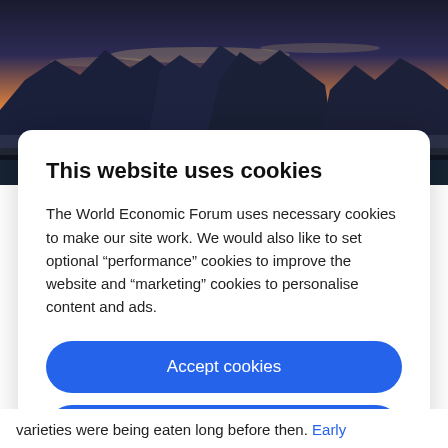[Figure (photo): Scenic mountain landscape with dramatic karst peaks silhouetted against a warm orange and yellow sunset sky, with mist and water in the foreground.]
This website uses cookies
The World Economic Forum uses necessary cookies to make our site work. We would also like to set optional “performance” cookies to improve the website and “marketing” cookies to personalise content and ads.
Accept cookies
Reject cookies
Cookie settings
varieties were being eaten long before then. Early